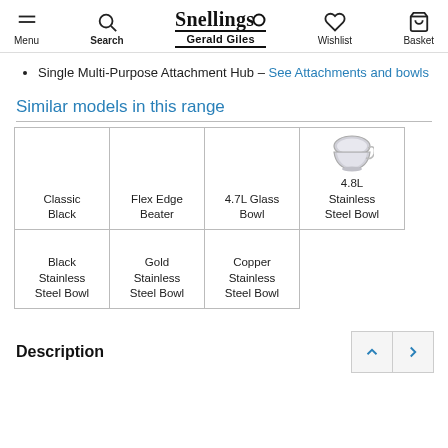Menu | Search | Snellings Gerald Giles | Wishlist | Basket
Single Multi-Purpose Attachment Hub – See Attachments and bowls
Similar models in this range
| Classic Black | Flex Edge Beater | 4.7L Glass Bowl | 4.8L Stainless Steel Bowl |
| Black Stainless Steel Bowl | Gold Stainless Steel Bowl | Copper Stainless Steel Bowl |  |
Description